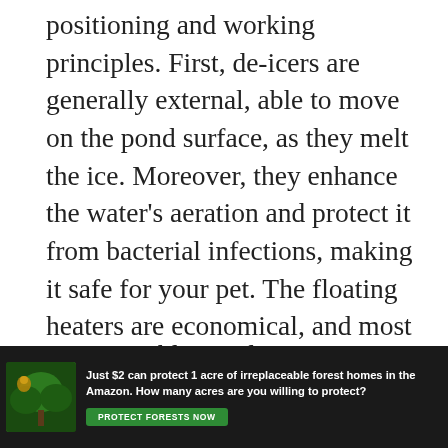positioning and working principles. First, de-icers are generally external, able to move on the pond surface, as they melt the ice. Moreover, they enhance the water's aeration and protect it from bacterial infections, making it safe for your pet. The floating heaters are economical, and most keepers prefer them because they oxygenate the ponds over the winter seasons.
Immersible Pond Heater
These electric heaters work for giant turtle tanks and can function efficiently even in an outdoor setting. They have more heating potential than
[Figure (other): Advertisement banner at bottom of page: dark background with forest/nature image on left, text 'Just $2 can protect 1 acre of irreplaceable forest homes in the Amazon. How many acres are you willing to protect?' with green 'PROTECT FORESTS NOW' button.]